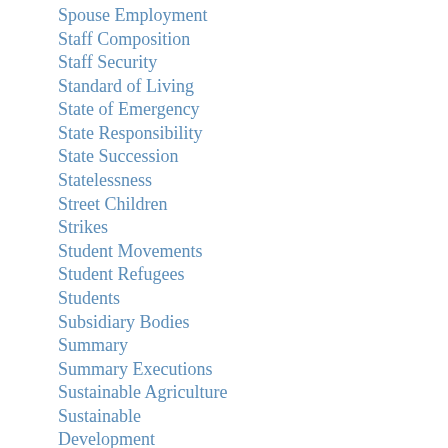Spouse Employment
Staff Composition
Staff Security
Standard of Living
State of Emergency
State Responsibility
State Succession
Statelessness
Street Children
Strikes
Student Movements
Student Refugees
Students
Subsidiary Bodies
Summary
Summary Executions
Sustainable Agriculture
Sustainable
Development